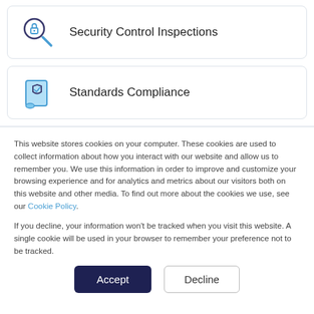[Figure (illustration): Card with magnifying glass and lock icon for Security Control Inspections]
Security Control Inspections
[Figure (illustration): Card with scroll/certificate and shield icon for Standards Compliance]
Standards Compliance
This website stores cookies on your computer. These cookies are used to collect information about how you interact with our website and allow us to remember you. We use this information in order to improve and customize your browsing experience and for analytics and metrics about our visitors both on this website and other media. To find out more about the cookies we use, see our Cookie Policy.
If you decline, your information won't be tracked when you visit this website. A single cookie will be used in your browser to remember your preference not to be tracked.
Accept
Decline